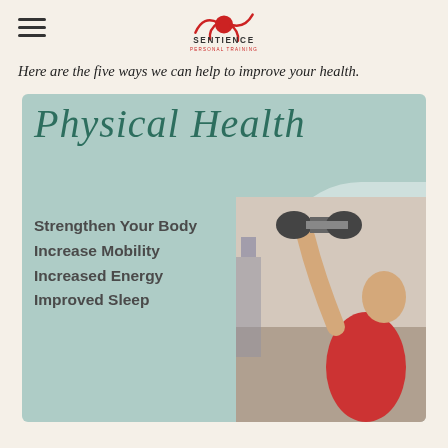Sentience Personal Training
Here are the five ways we can help to improve your health.
[Figure (infographic): Infographic on a mint/sage green background showing 'Physical Health' in cursive script at the top, with bullet points: Strengthen Your Body, Increase Mobility, Increased Energy, Improved Sleep. A photo of a person lifting a dumbbell is visible on the right side.]